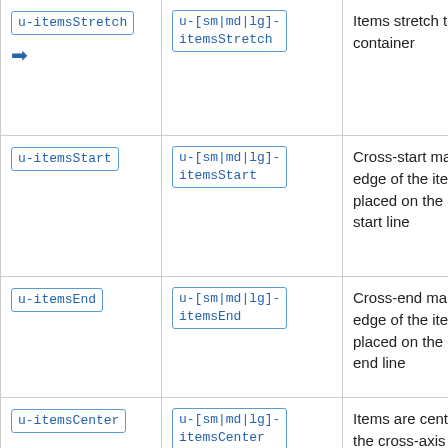| Class | Responsive Class | Description |
| --- | --- | --- |
| u-itemsStretch [arrow] | u-[sm|md|lg]-itemsStretch | Items stretch to fill container |
| u-itemsStart | u-[sm|md|lg]-itemsStart | Cross-start margin edge of the items is placed on the cross-start line |
| u-itemsEnd | u-[sm|md|lg]-itemsEnd | Cross-end margin edge of the items is placed on the cross-end line |
| u-itemsCenter | u-[sm|md|lg]-itemsCenter | Items are centered in the cross-axis |